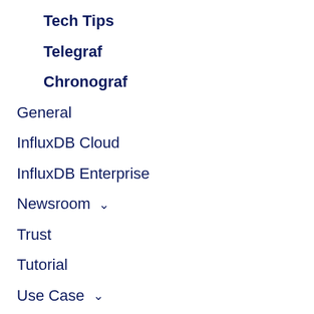Tech Tips
Telegraf
Chronograf
General
InfluxDB Cloud
InfluxDB Enterprise
Newsroom ∨
Trust
Tutorial
Use Case ∨
Try InfluxDB Cloud
The most powerful time series database as a